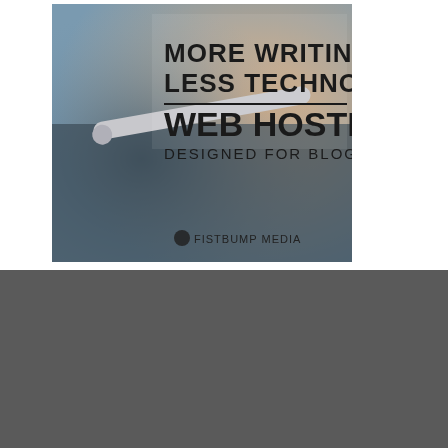[Figure (advertisement): Web hosting advertisement image with text 'MORE WRITING. LESS TECHNOLOGY. WEB HOSTING DESIGNED FOR BLOGGERS' over a blurred photo of a pen on a desk. Fistbump Media logo at bottom right.]
Hi, I'm Jessica
[Figure (photo): Portrait photo of a person with curly brown hair outdoors with green bokeh background, cropped showing top of head.]